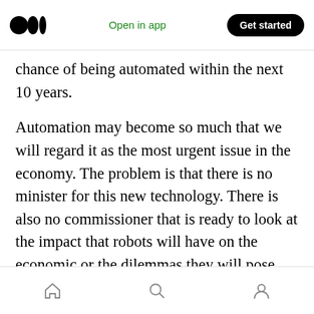[Figure (logo): Medium logo — two overlapping circles]
Open in app
Get started
chance of being automated within the next 10 years.
Automation may become so much that we will regard it as the most urgent issue in the economy. The problem is that there is no minister for this new technology. There is also no commissioner that is ready to look at the impact that robots will have on the economic or the dilemmas they will pose. There is no institution that can establish how wealth created and time liberated by robots will be shared equally among